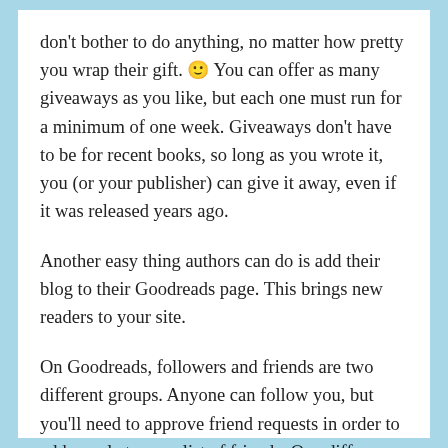don't bother to do anything, no matter how pretty you wrap their gift. 🙂 You can offer as many giveaways as you like, but each one must run for a minimum of one week. Giveaways don't have to be for recent books, so long as you wrote it, you (or your publisher) can give it away, even if it was released years ago.
Another easy thing authors can do is add their blog to their Goodreads page. This brings new readers to your site.
On Goodreads, followers and friends are two different groups. Anyone can follow you, but you'll need to approve friend requests in order to add people to your list of friends. One difference